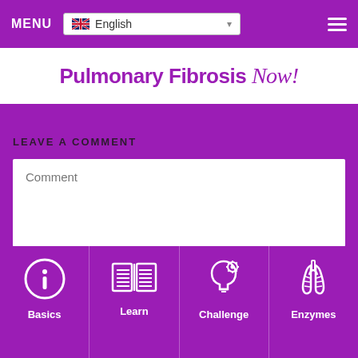MENU  English  [hamburger menu]
[Figure (logo): Pulmonary Fibrosis Now! logo in purple text on white background]
LEAVE A COMMENT
Comment [text area placeholder]
Name [input field placeholder]
Email [input field placeholder]
[Figure (infographic): Bottom navigation bar with four icons: Basics (info circle icon), Learn (open book icon), Challenge (head with gear icon), Enzymes (lungs icon)]